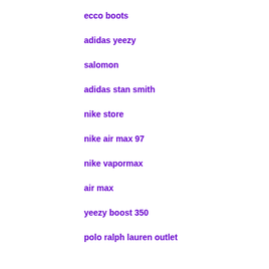ecco boots
adidas yeezy
salomon
adidas stan smith
nike store
nike air max 97
nike vapormax
air max
yeezy boost 350
polo ralph lauren outlet